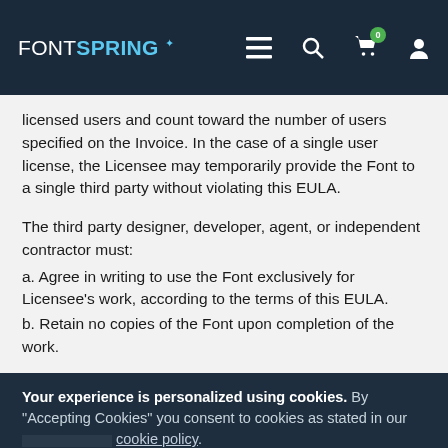FONTSPRING
licensed users and count toward the number of users specified on the Invoice. In the case of a single user license, the Licensee may temporarily provide the Font to a single third party without violating this EULA.
The third party designer, developer, agent, or independent contractor must:
a. Agree in writing to use the Font exclusively for Licensee's work, according to the terms of this EULA.
b. Retain no copies of the Font upon completion of the work.
Your experience is personalized using cookies. By "Accepting Cookies" you consent to cookies as stated in our cookie policy.
Accept Cookies